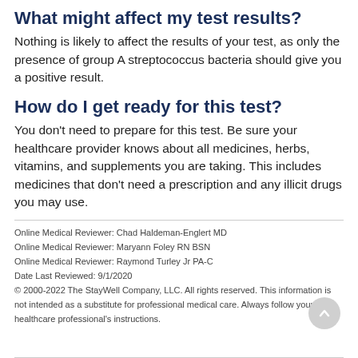What might affect my test results?
Nothing is likely to affect the results of your test, as only the presence of group A streptococcus bacteria should give you a positive result.
How do I get ready for this test?
You don't need to prepare for this test. Be sure your healthcare provider knows about all medicines, herbs, vitamins, and supplements you are taking. This includes medicines that don't need a prescription and any illicit drugs you may use.
Online Medical Reviewer: Chad Haldeman-Englert MD
Online Medical Reviewer: Maryann Foley RN BSN
Online Medical Reviewer: Raymond Turley Jr PA-C
Date Last Reviewed: 9/1/2020
© 2000-2022 The StayWell Company, LLC. All rights reserved. This information is not intended as a substitute for professional medical care. Always follow your healthcare professional's instructions.